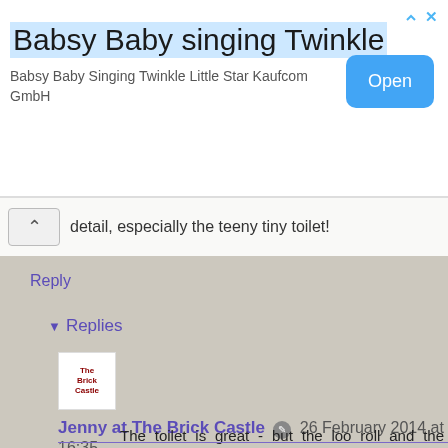[Figure (screenshot): Advertisement banner for 'Babsy Baby singing Twinkle' app by Kaufcom GmbH with blue Open button]
detail, especially the teeny tiny toilet!
Reply
Replies
Jenny at The Brick Castle 26 February 2014 at 16:35
The toilet is great - but the loo roll and the shower cubicle are better! D
Reply
Kim Carberry 26 February 2014 at 14:34
Wow! That looks amazing!! So much detail! Fantastic x